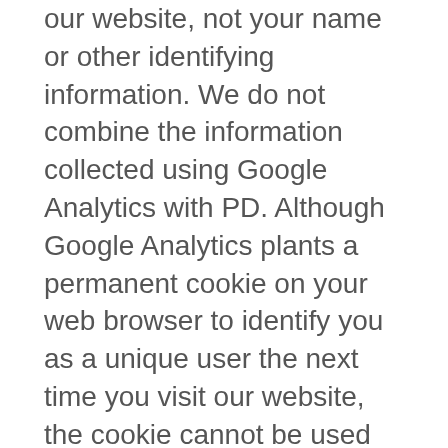our website, not your name or other identifying information. We do not combine the information collected using Google Analytics with PD. Although Google Analytics plants a permanent cookie on your web browser to identify you as a unique user the next time you visit our website, the cookie cannot be used by anyone but Google. Google also uses specific identifiers to help collect information about the use of our website. For more information on how Google collects and processes your data, visit https://www.google.com/policies/privacy/partners/.
You can prevent Google Analytics from using